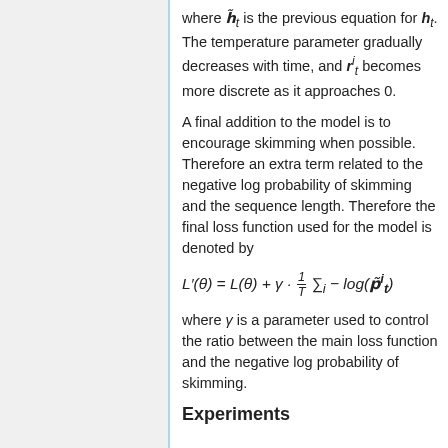where h̃_t is the previous equation for h_t. The temperature parameter gradually decreases with time, and r^i_t becomes more discrete as it approaches 0.
A final addition to the model is to encourage skimming when possible. Therefore an extra term related to the negative log probability of skimming and the sequence length. Therefore the final loss function used for the model is denoted by
where γ is a parameter used to control the ratio between the main loss function and the negative log probability of skimming.
Experiments